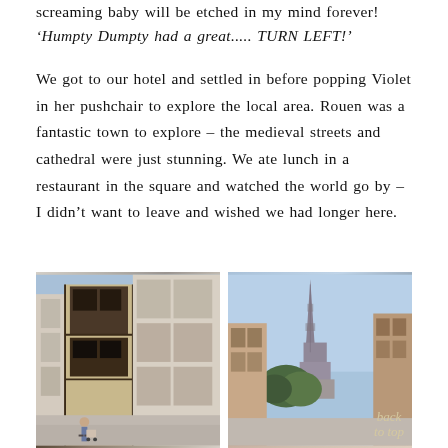screaming baby will be etched in my mind forever!
'Humpty Dumpty had a great..... TURN LEFT!'
We got to our hotel and settled in before popping Violet in her pushchair to explore the local area. Rouen was a fantastic town to explore – the medieval streets and cathedral were just stunning. We ate lunch in a restaurant in the square and watched the world go by – I didn't want to leave and wished we had longer here.
[Figure (photo): Two side-by-side photographs of Rouen, France. Left photo shows a medieval street with half-timbered buildings and a pedestrian with pushchair. Right photo shows Rouen Cathedral spire against a blue sky with street buildings in foreground.]